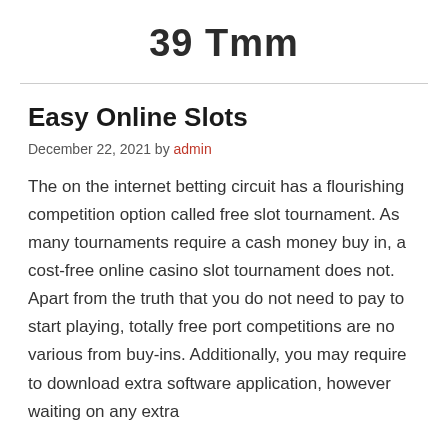39 Tmm
Easy Online Slots
December 22, 2021 by admin
The on the internet betting circuit has a flourishing competition option called free slot tournament. As many tournaments require a cash money buy in, a cost-free online casino slot tournament does not. Apart from the truth that you do not need to pay to start playing, totally free port competitions are no various from buy-ins. Additionally, you may require to download extra software application, however waiting on any extra